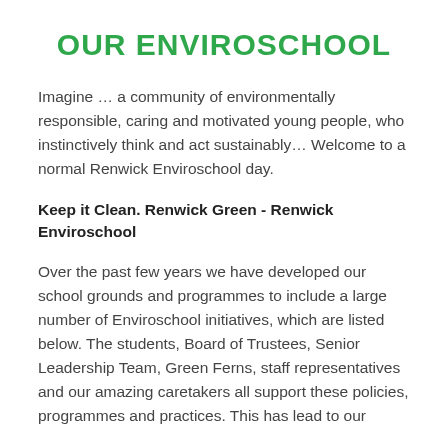OUR ENVIROSCHOOL
Imagine … a community of environmentally responsible, caring and motivated young people, who instinctively think and act sustainably… Welcome to a normal Renwick Enviroschool day.
Keep it Clean. Renwick Green - Renwick Enviroschool
Over the past few years we have developed our school grounds and programmes to include a large number of Enviroschool initiatives, which are listed below. The students, Board of Trustees, Senior Leadership Team, Green Ferns, staff representatives and our amazing caretakers all support these policies, programmes and practices. This has lead to our